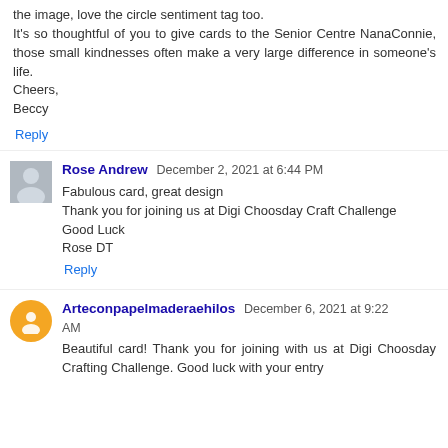the image, love the circle sentiment tag too. It's so thoughtful of you to give cards to the Senior Centre NanaConnie, those small kindnesses often make a very large difference in someone's life. Cheers, Beccy
Reply
Rose Andrew December 2, 2021 at 6:44 PM
Fabulous card, great design
Thank you for joining us at Digi Choosday Craft Challenge
Good Luck
Rose DT
Reply
Arteconpapelmaderaehilos December 6, 2021 at 9:22 AM
Beautiful card! Thank you for joining with us at Digi Choosday Crafting Challenge. Good luck with your entry